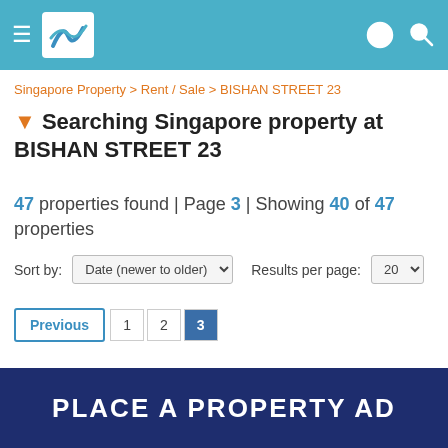Navigation header with logo and icons
Singapore Property > Rent / Sale > BISHAN STREET 23
▼ Searching Singapore property at BISHAN STREET 23
47 properties found | Page 3 | Showing 40 of 47 properties
Sort by: Date (newer to older)   Results per page: 20
Previous 1 2 3
[Figure (infographic): PLACE A PROPERTY AD banner in dark blue]